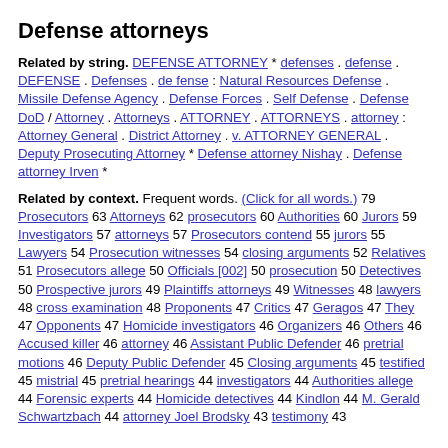Defense attorneys
Related by string. DEFENSE ATTORNEY * defenses . defense . DEFENSE . Defenses . de fense : Natural Resources Defense . Missile Defense Agency . Defense Forces . Self Defense . Defense DoD / Attorney . Attorneys . ATTORNEY . ATTORNEYS . attorney : Attorney General . District Attorney . v. ATTORNEY GENERAL . Deputy Prosecuting Attorney * Defense attorney Nishay . Defense attorney Irven *
Related by context. Frequent words. (Click for all words.) 79 Prosecutors 63 Attorneys 62 prosecutors 60 Authorities 60 Jurors 59 Investigators 57 attorneys 57 Prosecutors contend 55 jurors 55 Lawyers 54 Prosecution witnesses 54 closing arguments 52 Relatives 51 Prosecutors allege 50 Officials [002] 50 prosecution 50 Detectives 50 Prospective jurors 49 Plaintiffs attorneys 49 Witnesses 48 lawyers 48 cross examination 48 Proponents 47 Critics 47 Geragos 47 They 47 Opponents 47 Homicide investigators 46 Organizers 46 Others 46 Accused killer 46 attorney 46 Assistant Public Defender 46 pretrial motions 46 Deputy Public Defender 45 Closing arguments 45 testified 45 mistrial 45 pretrial hearings 44 investigators 44 Authorities allege 44 Forensic experts 44 Homicide detectives 44 Kindlon 44 M. Gerald Schwartzbach 44 attorney Joel Brodsky 43 testimony 43